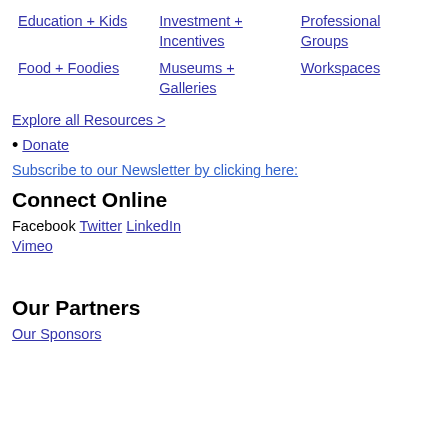Education + Kids
Investment + Incentives
Professional Groups
Food + Foodies
Museums + Galleries
Workspaces
Explore all Resources >
Donate
Subscribe to our Newsletter by clicking here:
Connect Online
Facebook Twitter LinkedIn
Vimeo
Our Partners
Our Sponsors